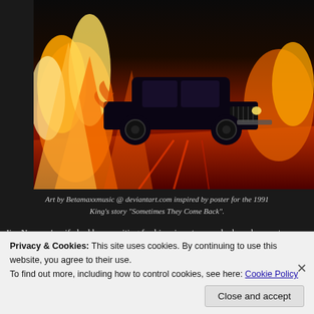[Figure (illustration): Digital art illustration of a classic 1950s car surrounded by dramatic flames in vivid orange, yellow, and red tones. Dark background with the car silhouetted against fiery imagery. Art inspired by the 1991 Stephen King story poster.]
Art by Betamaxxmusic @ deviantart.com inspired by poster for the 1991 King’s story “Sometimes They Come Back”.
Jim Norman’s wife had been waiting for him since two, and when she saw their apartment building, she came out to meet him. She had gone to the sto...
Privacy & Cookies: This site uses cookies. By continuing to use this website, you agree to their use.
To find out more, including how to control cookies, see here: Cookie Policy